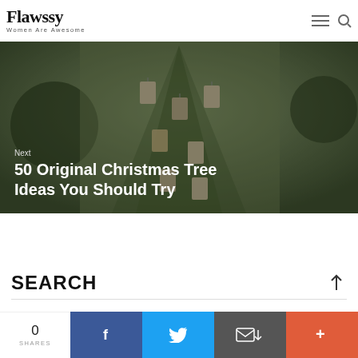Flawssy — Women Are Awesome
[Figure (photo): Christmas tree decorated with hanging photo tags and surrounded by green wreaths, with text overlay: Next / 50 Original Christmas Tree Ideas You Should Try]
SEARCH
0 SHARES
Facebook share button
Twitter share button
Email share button
More share button